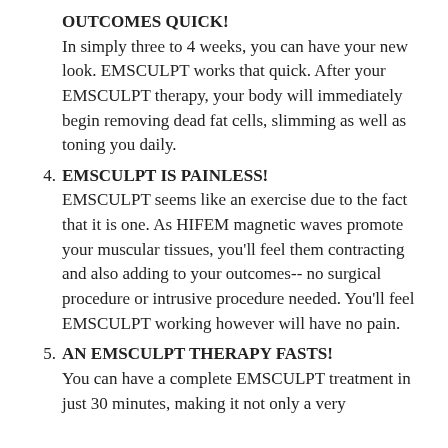OUTCOMES QUICK! In simply three to 4 weeks, you can have your new look. EMSCULPT works that quick. After your EMSCULPT therapy, your body will immediately begin removing dead fat cells, slimming as well as toning you daily.
4. EMSCULPT IS PAINLESS! EMSCULPT seems like an exercise due to the fact that it is one. As HIFEM magnetic waves promote your muscular tissues, you'll feel them contracting and also adding to your outcomes-- no surgical procedure or intrusive procedure needed. You'll feel EMSCULPT working however will have no pain.
5. AN EMSCULPT THERAPY FASTS! You can have a complete EMSCULPT treatment in just 30 minutes, making it not only a very